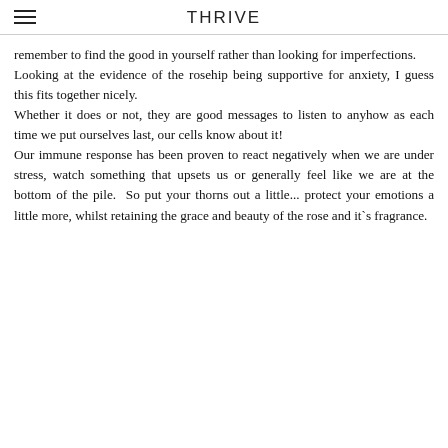THRIVE
remember to find the good in yourself rather than looking for imperfections. Looking at the evidence of the rosehip being supportive for anxiety, I guess this fits together nicely. Whether it does or not, they are good messages to listen to anyhow as each time we put ourselves last, our cells know about it! Our immune response has been proven to react negatively when we are under stress, watch something that upsets us or generally feel like we are at the bottom of the pile.  So put your thorns out a little... protect your emotions a little more, whilst retaining the grace and beauty of the rose and it`s fragrance.